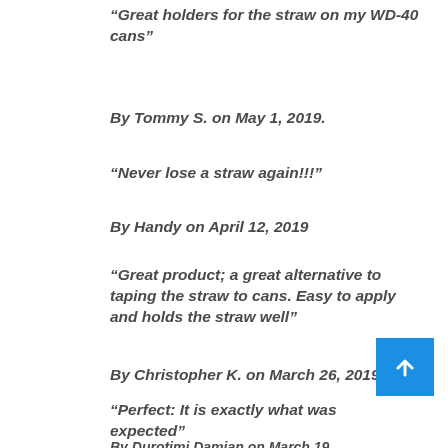“Great holders for the straw on my WD-40 cans”
By Tommy S. on May 1, 2019.
“Never lose a straw again!!!”
By Handy on April 12, 2019
“Great product; a great alternative to taping the straw to cans. Easy to apply and holds the straw well”
By Christopher K. on March 26, 2019
“Perfect: It is exactly what was expected”
By Durotimi Damian on March 19